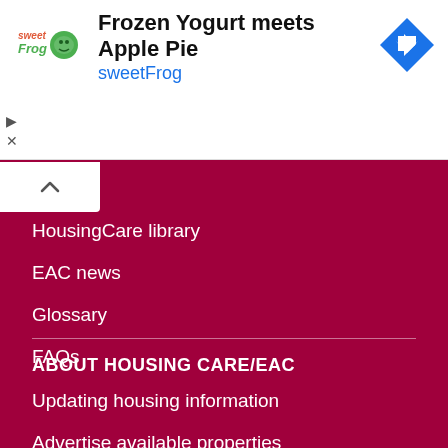[Figure (screenshot): Advertisement banner for sweetFrog: 'Frozen Yogurt meets Apple Pie' with sweetFrog logo and navigation icon]
HousingCare library
EAC news
Glossary
FAQs
ABOUT HOUSING CARE/EAC
Updating housing information
Advertise available properties
EAC Quality of Information Mark
Updating care home information
EAC accommodation data products